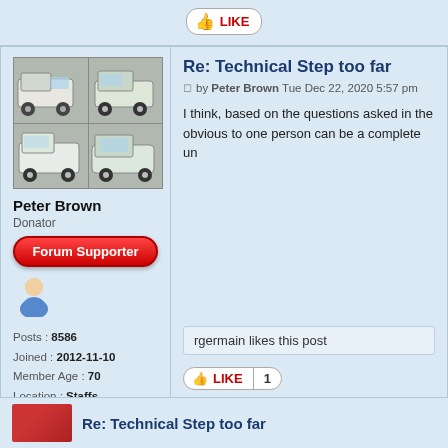[Figure (other): LIKE button with thumbs up icon]
[Figure (photo): 2x2 grid of motorhome/campervan photos]
Peter Brown
Donator
[Figure (other): Forum Supporter red badge button]
[Figure (illustration): User avatar: blue shirt person icon]
Posts : 8586
Joined : 2012-11-10
Member Age : 70
Location : Staffs
Auto-Sleeper : Malvern
Vehicle Year : 2011
Re: Technical Step too far
by Peter Brown Tue Dec 22, 2020 5:57 pm
I think, based on the questions asked in the obvious to one person can be a complete un
rgermain likes this post
[Figure (other): LIKE button with count 1]
Re: Technical Step too far